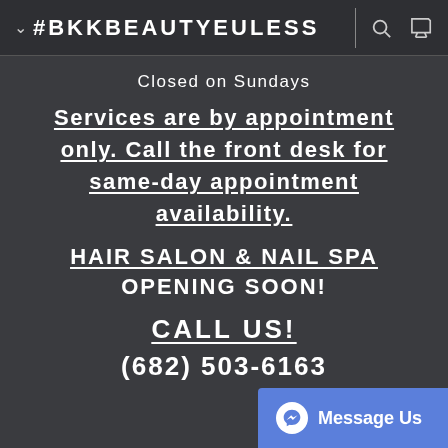✓ #BKKBEAUTYEULESS
Closed on Sundays
Services are by appointment only. Call the front desk for same-day appointment availability.
HAIR SALON & NAIL SPA
OPENING SOON!
CALL US!
(682) 503-6163
Message Us